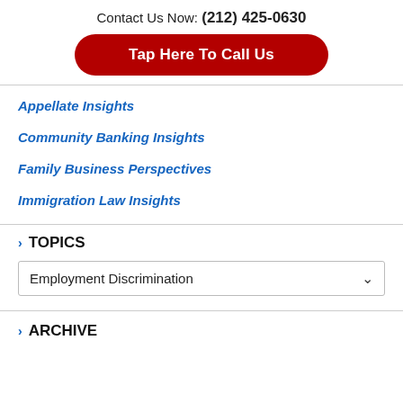Contact Us Now: (212) 425-0630
Tap Here To Call Us
Appellate Insights
Community Banking Insights
Family Business Perspectives
Immigration Law Insights
TOPICS
Employment Discrimination
ARCHIVE